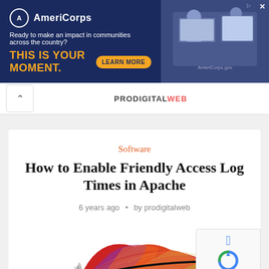[Figure (photo): AmeriCorps advertisement banner with navy blue background. Left side shows AmeriCorps logo, tagline 'Ready to make an impact in communities across the country?', bold orange text 'THIS IS YOUR MOMENT.' with a 'LEARN MORE' button. Right side shows a photo of people at computers.]
[Figure (logo): ProDigitalWeb logo in the navigation bar]
Software
How to Enable Friendly Access Log Times in Apache
6 years ago • by prodigitalweb
[Figure (illustration): Apache feather logo illustration - a colorful feather with red, orange, yellow, purple colors with a dark quill, the Apache Software Foundation logo]